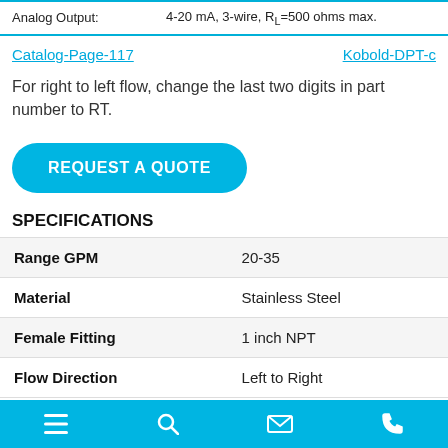| Property | Value |
| --- | --- |
| Analog Output: | 4-20 mA, 3-wire, RL=500 ohms max. |
Catalog-Page-117    Kobold-DPT-c
For right to left flow, change the last two digits in part number to RT.
REQUEST A QUOTE
SPECIFICATIONS
| Specification | Value |
| --- | --- |
| Range GPM | 20-35 |
| Material | Stainless Steel |
| Female Fitting | 1 inch NPT |
| Flow Direction | Left to Right |